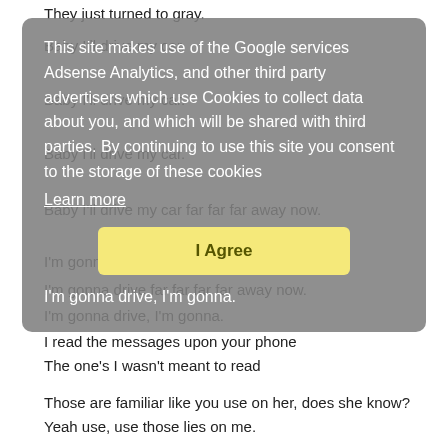They just turned to gray.
Baby I'll drive my car.
Baby I'll drive my car.
Baby I'll drive my car.
Baby I'll drive my car far far far away now.
I'm gonna drive, I'm gonna.
I'm gonna drive far far far far away now.
I'm gonna drive, I'm gonna.
[Figure (screenshot): Cookie consent overlay dialog with gray background. Text reads: 'This site makes use of the Google services Adsense Analytics, and other third party advertisers which use Cookies to collect data about you, and which will be shared with third parties. By continuing to use this site you consent to the storage of these cookies'. Contains a 'Learn more' underlined link and an 'I Agree' yellow button.]
I read the messages upon your phone
The one's I wasn't meant to read
Those are familiar like you use on her, does she know?
Yeah use, use those lies on me.
And when the morning comes